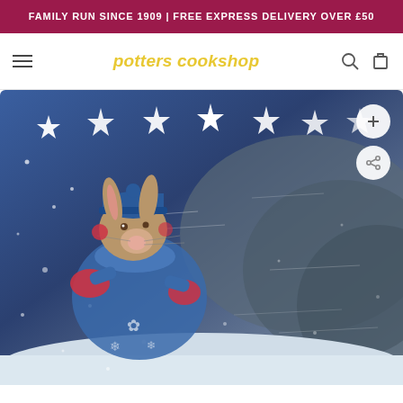FAMILY RUN SINCE 1909 | FREE EXPRESS DELIVERY OVER £50
[Figure (logo): Potters Cookshop navigation bar with hamburger menu, yellow italic logo text 'potters cookshop', search icon, and cart icon]
[Figure (illustration): Watercolour illustration of a rabbit wearing a blue bobble hat, blue scarf, and red mittens walking through a snowy winter night scene with white stars across the top and snowflakes swirling around]